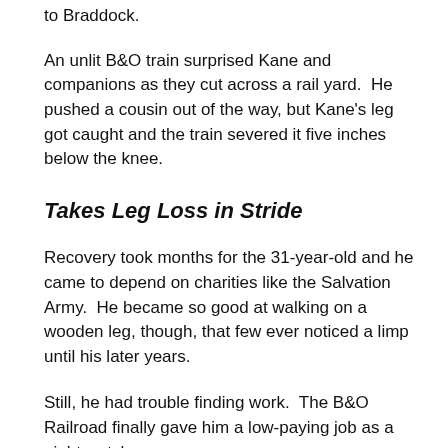to Braddock.
An unlit B&O train surprised Kane and companions as they cut across a rail yard. He pushed a cousin out of the way, but Kane's leg got caught and the train severed it five inches below the knee.
Takes Leg Loss in Stride
Recovery took months for the 31-year-old and he came to depend on charities like the Salvation Army. He became so good at walking on a wooden leg, though, that few ever noticed a limp until his later years.
Still, he had trouble finding work. The B&O Railroad finally gave him a low-paying job as a night watchman.